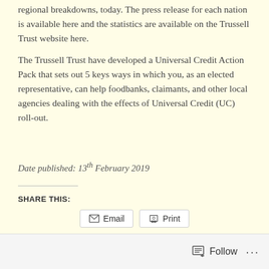regional breakdowns, today. The press release for each nation is available here and the statistics are available on the Trussell Trust website here.
The Trussell Trust have developed a Universal Credit Action Pack that sets out 5 keys ways in which you, as an elected representative, can help foodbanks, claimants, and other local agencies dealing with the effects of Universal Credit (UC) roll-out.
Date published: 13th February 2019
SHARE THIS:
Follow ···